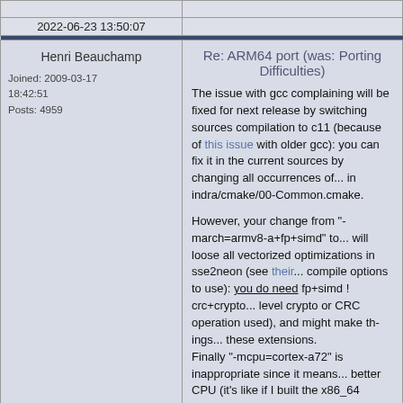2022-06-23 13:50:07
Henri Beauchamp
Joined: 2009-03-17 18:42:51
Posts: 4959
Re: ARM64 port (was: Porting Difficulties)
The issue with gcc complaining will be fixed for next release by switching sources compilation to c11 (because of this issue with older gcc): you can fix it in the current sources by changing all occurrences of... in indra/cmake/00-Common.cmake.

However, your change from "-march=armv8-a+fp+simd" to... will loose all vectorized optimizations in sse2neon (see their... compile options to use): you do need fp+simd ! crc+crypto... level crypto or CRC operation used), and might make things... these extensions.
Finally "-mcpu=cortex-a72" is inappropriate since it means... better CPU (it's like if I built the x86_64 releases with '-m... operations embedded and would crash on CPUs without... march=native" option that is added automatically by the... becomes redundant and actually less adequate/efficient... be used only for personal builds, not for release builds, s... better than yours).

Sadly, as it is, the diff for the libraries builds script is unu... renders those scripts incompatible with x86 systems. If y... them here in full (zipped, of course), and rename them /k... so that they can live along the Linux x86 build script equ...